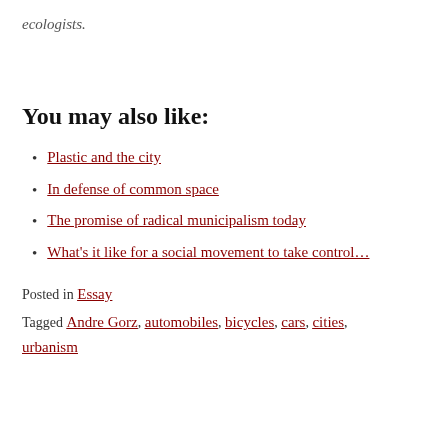ecologists.
You may also like:
Plastic and the city
In defense of common space
The promise of radical municipalism today
What's it like for a social movement to take control…
Posted in Essay
Tagged Andre Gorz, automobiles, bicycles, cars, cities, urbanism